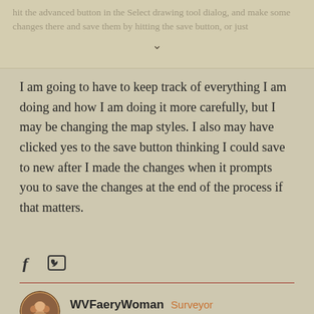hit the advanced button in the Select drawing tool dialog, and make some changes there and save them by hitting the save button, or just
I am going to have to keep track of everything I am doing and how I am doing it more carefully, but I may be changing the map styles. I also may have clicked yes to the save button thinking I could save to new after I made the changes when it prompts you to save the changes at the end of the process if that matters.
[Figure (infographic): Facebook and Twitter social share icons]
WVFaeryWoman Surveyor April 20
I was struggling with getting lighting to work when the Hollow Tree Style distracted me, so I went back to try to do it today. First